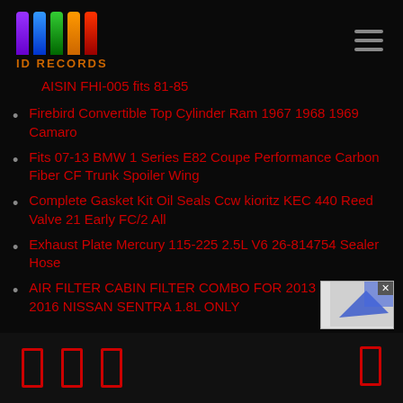ID RECORDS
AISIN FHI-005 fits 81-85
Firebird Convertible Top Cylinder Ram 1967 1968 1969 Camaro
Fits 07-13 BMW 1 Series E82 Coupe Performance Carbon Fiber CF Trunk Spoiler Wing
Complete Gasket Kit Oil Seals Ccw kioritz KEC 440 Reed Valve 21 Early FC/2 All
Exhaust Plate Mercury 115-225 2.5L V6 26-814754 Sealer Hose
AIR FILTER CABIN FILTER COMBO FOR 2013 2014 2015 2016 NISSAN SENTRA 1.8L ONLY